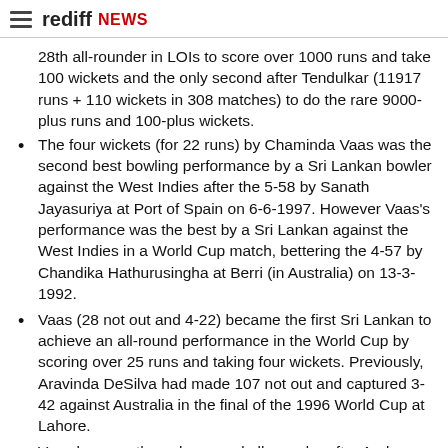rediff NEWS
28th all-rounder in LOIs to score over 1000 runs and take 100 wickets and the only second after Tendulkar (11917 runs + 110 wickets in 308 matches) to do the rare 9000-plus runs and 100-plus wickets.
The four wickets (for 22 runs) by Chaminda Vaas was the second best bowling performance by a Sri Lankan bowler against the West Indies after the 5-58 by Sanath Jayasuriya at Port of Spain on 6-6-1997. However Vaas's performance was the best by a Sri Lankan against the West Indies in a World Cup match, bettering the 4-57 by Chandika Hathurusingha at Berri (in Australia) on 13-3-1992.
Vaas (28 not out and 4-22) became the first Sri Lankan to achieve an all-round performance in the World Cup by scoring over 25 runs and taking four wickets. Previously, Aravinda DeSilva had made 107 not out and captured 3-42 against Australia in the final of the 1996 World Cup at Lahore.
Vaas became the only second all-rounder after Andre Adams (35 not out and 4-44 at Port Elizabeth